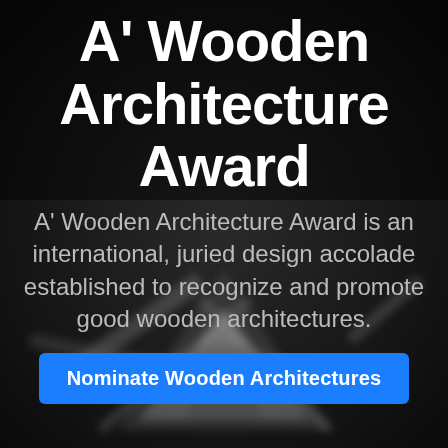[Figure (photo): Black and white photo of a metallic award trophy (A' Design Award statuette) on a dark background, blurred/bokeh effect]
A' Wooden Architecture Award
A' Wooden Architecture Award is an international, juried design accolade established to recognize and promote good wooden architectures.
Nominate Wooden Architectures